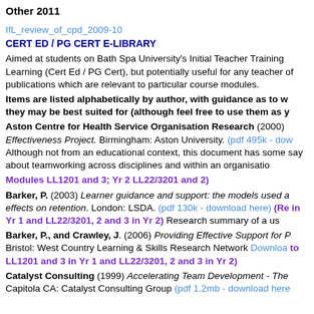Other 2011
IfL_review_of_cpd_2009-10
CERT ED / PG CERT E-LIBRARY
Aimed at students on Bath Spa University's Initial Teacher Training Learning (Cert Ed / PG Cert), but potentially useful for any teacher of publications which are relevant to particular course modules.
Items are listed alphabetically by author, with guidance as to w they may be best suited for (although feel free to use them as y
Aston Centre for Health Service Organisation Research (2000) Effectiveness Project. Birmingham: Aston University. (pdf 495k - do Although not from an educational context, this document has some say about teamworking across disciplines and within an organisatio
Modules LL1201 and 3; Yr 2 LL22/3201 and 2)
Barker, P. (2003) Learner guidance and support: the models used a effects on retention. London: LSDA. (pdf 130k - download here) (Re in Yr 1 and LL22/3201, 2 and 3 in Yr 2) Research summary of a us
Barker, P., and Crawley, J. (2006) Providing Effective Support for Bristol: West Country Learning & Skills Research Network Download to LL1201 and 3 in Yr 1 and LL22/3201, 2 and 3 in Yr 2)
Catalyst Consulting (1999) Accelerating Team Development - The Capitola CA: Catalyst Consulting Group (pdf 1.2mb - download here